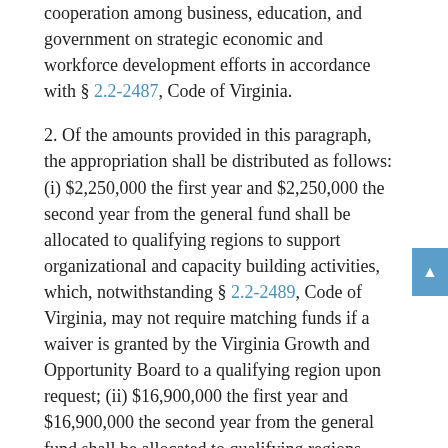cooperation among business, education, and government on strategic economic and workforce development efforts in accordance with § 2.2-2487, Code of Virginia.
2. Of the amounts provided in this paragraph, the appropriation shall be distributed as follows: (i) $2,250,000 the first year and $2,250,000 the second year from the general fund shall be allocated to qualifying regions to support organizational and capacity building activities, which, notwithstanding § 2.2-2489, Code of Virginia, may not require matching funds if a waiver is granted by the Virginia Growth and Opportunity Board to a qualifying region upon request; (ii) $16,900,000 the first year and $16,900,000 the second year from the general fund shall be allocated to qualifying regions based on each region's share of the state population; and (iii) $15,300,000 the first year and $15,300,000 the second